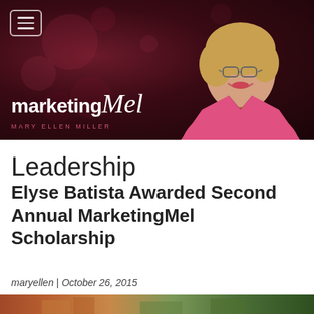[Figure (photo): Marketing Mel website header banner with dark bokeh background, woman in pink jacket (Mary Ellen Miller) on the right, menu icon top left, 'marketingMel' logo and 'MARY ELLEN MILLER' byline in pink.]
Leadership
Elyse Batista Awarded Second Annual MarketingMel Scholarship
maryellen | October 26, 2015
[Figure (photo): Partial bottom strip showing an outdoor scene.]